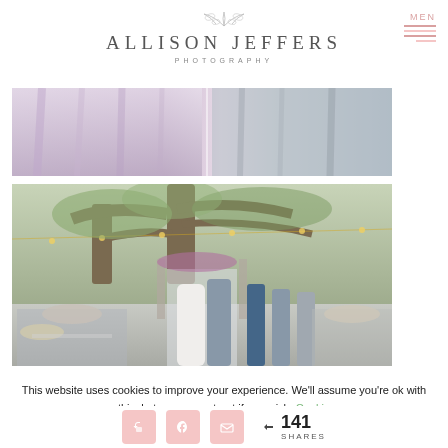[Figure (logo): Allison Jeffers Photography logo with leaf/branch illustration above text]
[Figure (photo): Top strip photo showing bridesmaids in lavender dresses and groomsmen in grey suits]
[Figure (photo): Outdoor wedding ceremony photo under large oak tree with string lights, couple kissing at altar with guests seated]
This website uses cookies to improve your experience. We'll assume you're ok with this, but you can opt-out if you wish. Cookie
141 SHARES